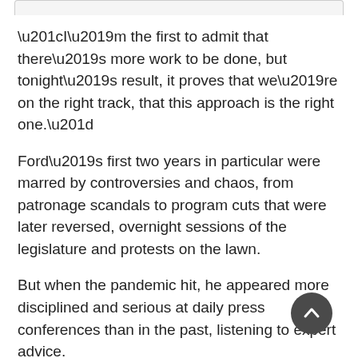“I’m the first to admit that there’s more work to be done, but tonight’s result, it proves that we’re on the right track, that this approach is the right one.”
Ford’s first two years in particular were marred by controversies and chaos, from patronage scandals to program cuts that were later reversed, overnight sessions of the legislature and protests on the lawn.
But when the pandemic hit, he appeared more disciplined and serious at daily press conferences than in the past, listening to expert advice.
While many were critical of Ford’s response — at times